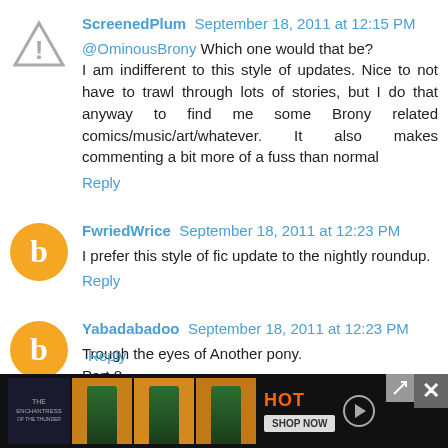ScreenedPlum  September 18, 2011 at 12:15 PM
@OminousBrony Which one would that be?
I am indifferent to this style of updates. Nice to not have to trawl through lots of stories, but I do that anyway to find me some Brony related comics/music/art/whatever. It also makes commenting a bit more of a fuss than normal
Reply
FwriedWrice  September 18, 2011 at 12:23 PM
I prefer this style of fic update to the nightly roundup.
Reply
Yabadabadoo  September 18, 2011 at 12:23 PM
Trough the eyes of Another pony.
Part 8
Reply
[Figure (screenshot): Advertisement banner at bottom of page showing a movie/show promotion with orange background and green-dressed figure, HOT label and SHOP NOW button, with a close X button]